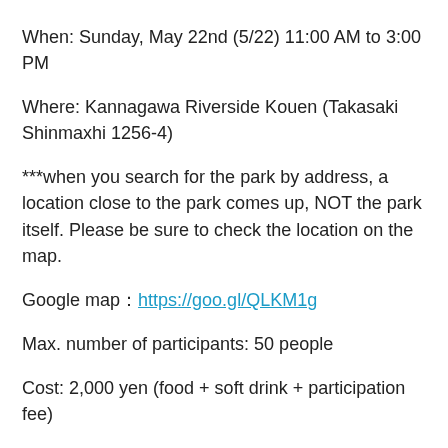When: Sunday, May 22nd (5/22) 11:00 AM to 3:00 PM
Where: Kannagawa Riverside Kouen (Takasaki Shinmaxhi 1256-4)
***when you search for the park by address, a location close to the park comes up, NOT the park itself. Please be sure to check the location on the map.
Google map：https://goo.gl/QLKM1g
Max. number of participants: 50 people
Cost: 2,000 yen (food + soft drink + participation fee)
*** GIC will prepare the food, but if there's something in particular that you'd like to eat or drink, please bring it on your own! ;)